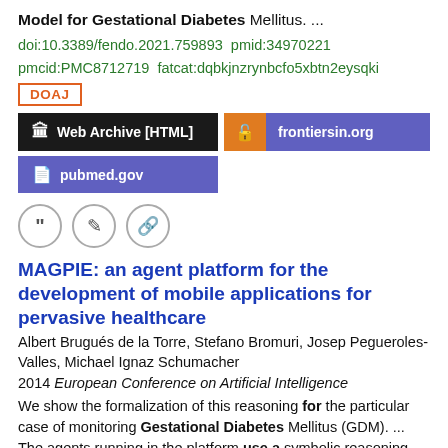Model for Gestational Diabetes Mellitus. ...
doi:10.3389/fendo.2021.759893  pmid:34970221  pmcid:PMC8712719  fatcat:dqbkjnzrynbcfo5xbtn2eysqki
DOAJ
Web Archive [HTML]
frontiersin.org
pubmed.gov
MAGPIE: an agent platform for the development of mobile applications for pervasive healthcare
Albert Brugués de la Torre, Stefano Bromuri, Josep Pegueroles-Valles, Michael Ignaz Schumacher
2014 European Conference on Artificial Intelligence
We show the formalization of this reasoning for the particular case of monitoring Gestational Diabetes Mellitus (GDM). ... The agents running in the platform use a symbolic reasoning approach to formalize the events happening to the patient. ... Android as it is offered as an open source solution, can be used by different vendors both in personal health and in additional...